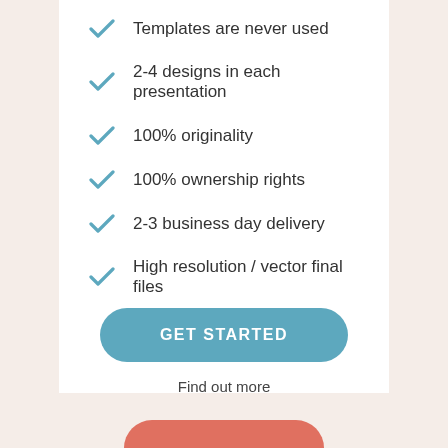Templates are never used
2-4 designs in each presentation
100% originality
100% ownership rights
2-3 business day delivery
High resolution / vector final files
GET STARTED
Find out more